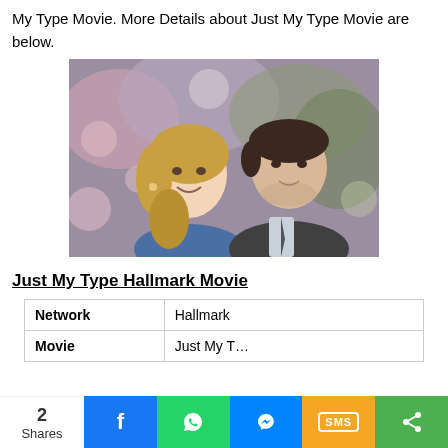My Type Movie. More Details about Just My Type Movie are below.
[Figure (photo): A smiling couple (blonde woman and dark-haired man in a suit) posing together outdoors with blurred floral background.]
Just My Type Hallmark Movie
| Network | Hallmark |
| --- | --- |
| Movie | Just My T... |
2 Shares | Facebook | WhatsApp | Messenger | SMS | Share